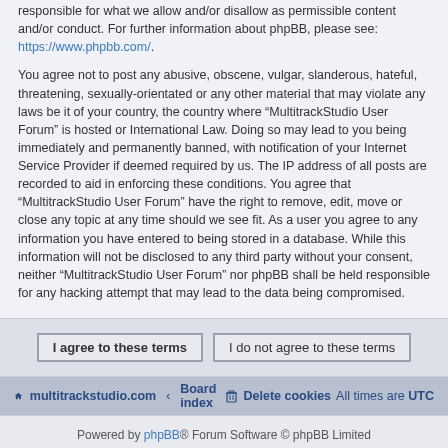responsible for what we allow and/or disallow as permissible content and/or conduct. For further information about phpBB, please see: https://www.phpbb.com/.
You agree not to post any abusive, obscene, vulgar, slanderous, hateful, threatening, sexually-orientated or any other material that may violate any laws be it of your country, the country where “MultitrackStudio User Forum” is hosted or International Law. Doing so may lead to you being immediately and permanently banned, with notification of your Internet Service Provider if deemed required by us. The IP address of all posts are recorded to aid in enforcing these conditions. You agree that “MultitrackStudio User Forum” have the right to remove, edit, move or close any topic at any time should we see fit. As a user you agree to any information you have entered to being stored in a database. While this information will not be disclosed to any third party without your consent, neither “MultitrackStudio User Forum” nor phpBB shall be held responsible for any hacking attempt that may lead to the data being compromised.
I agree to these terms | I do not agree to these terms
multitrackstudio.com · Board index · Delete cookies · All times are UTC
Powered by phpBB® Forum Software © phpBB Limited
Privacy | Terms